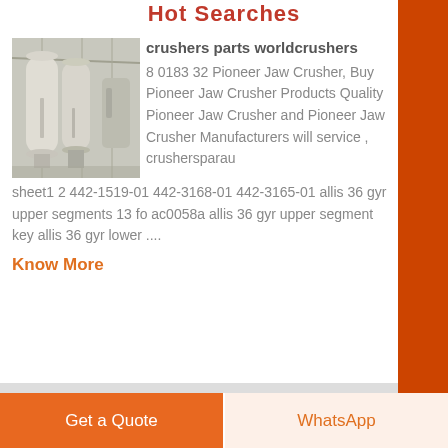Hot Searches
[Figure (photo): Industrial silos/tanks in a warehouse or factory setting, grayscale image]
crushers parts worldcrushers
8 0183 32 Pioneer Jaw Crusher, Buy Pioneer Jaw Crusher Products Quality Pioneer Jaw Crusher and Pioneer Jaw Crusher Manufacturers will service , crushersparau sheet1 2 442-1519-01 442-3168-01 442-3165-01 allis 36 gyr upper segments 13 fo ac0058a allis 36 gyr upper segment key allis 36 gyr lower ....
Know More
Get a Quote
WhatsApp